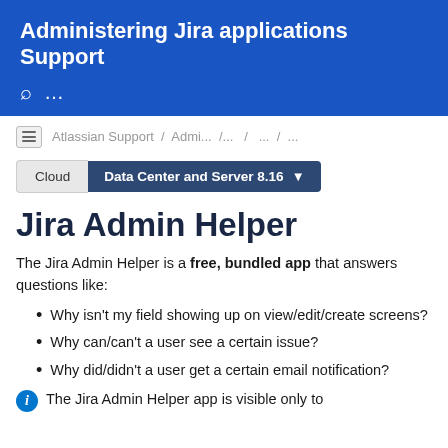Administering Jira applications Support
Atlassian Support / Admi... /... / ... / ...
Cloud  |  Data Center and Server 8.16
Jira Admin Helper
The Jira Admin Helper is a free, bundled app that answers questions like:
Why isn't my field showing up on view/edit/create screens?
Why can/can't a user see a certain issue?
Why did/didn't a user get a certain email notification?
The Jira Admin Helper app is visible only to